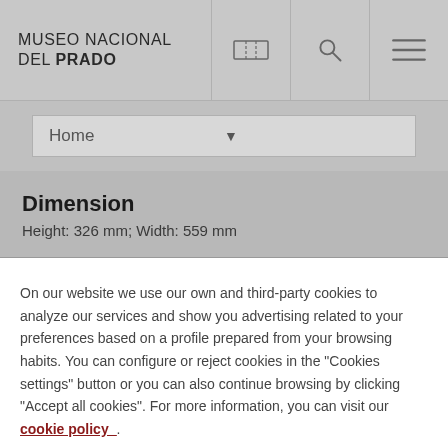MUSEO NACIONAL DEL PRADO
Dimension
Height: 326 mm; Width: 559 mm
On our website we use our own and third-party cookies to analyze our services and show you advertising related to your preferences based on a profile prepared from your browsing habits. You can configure or reject cookies in the "Cookies settings" button or you can also continue browsing by clicking "Accept all cookies". For more information, you can visit our cookie policy_.
Cookies Settings
Accept All Cookies